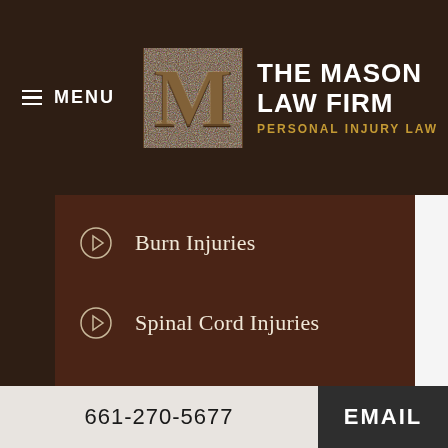[Figure (logo): The Mason Law Firm logo with stylized M and text: THE MASON LAW FIRM, PERSONAL INJURY LAW]
Burn Injuries
Spinal Cord Injuries
Brain Injuries
Wrongful Death
Construction Site Accidents
Product Liability
661-270-5677  EMAIL